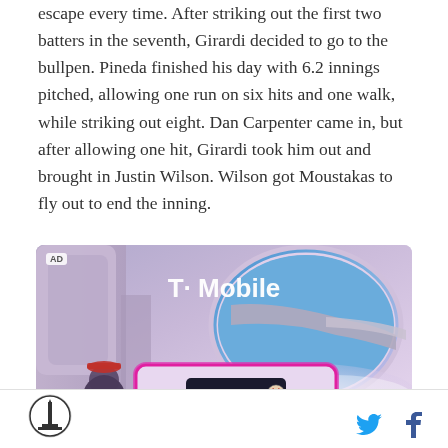escape every time. After striking out the first two batters in the seventh, Girardi decided to go to the bullpen. Pineda finished his day with 6.2 innings pitched, allowing one run on six hits and one walk, while striking out eight. Dan Carpenter came in, but after allowing one hit, Girardi took him out and brought in Justin Wilson. Wilson got Moustakas to fly out to end the inning.
[Figure (photo): T-Mobile advertisement showing an airplane wing viewed through a plane window, with an MLB.tv logo on a screen in the lower portion. An 'AD' label appears in the top left corner.]